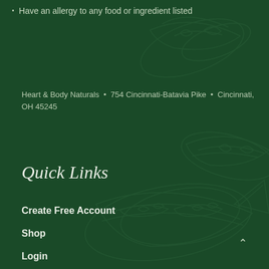Have an allergy to any food or ingredient listed
Heart & Body Naturals • 754 Cincinnati-Batavia Pike • Cincinnati, OH 45245
Quick Links
Create Free Account
Shop
Login
Love Stories
Testimonials